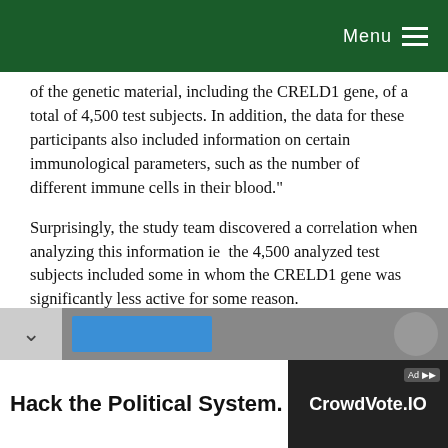Menu
of the genetic material, including the CRELD1 gene, of a total of 4,500 test subjects. In addition, the data for these participants also included information on certain immunological parameters, such as the number of different immune cells in their blood."
Surprisingly, the study team discovered a correlation when analyzing this information ie  the 4,500 analyzed test subjects included some in whom the CRELD1 gene was significantly less active for some reason.
Significantly, the blood of these donors was found to contain only very few of the so-called T cells. These cells play an important role in fighting infections; some of them detect virus-infected cells and kill them before they can infect other cells.
[Figure (screenshot): Advertisement banner: 'Hack the Political System.' and 'CrowdVote.IO' on dark background. Partially visible UI elements including a chevron down button and blue button.]